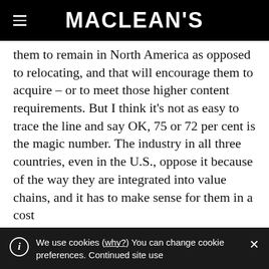MACLEAN'S
them to remain in North America as opposed to relocating, and that will encourage them to acquire – or to meet those higher content requirements. But I think it's not as easy to trace the line and say OK, 75 or 72 per cent is the magic number. The industry in all three countries, even in the U.S., oppose it because of the way they are integrated into value chains, and it has to make sense for them in a cost
We use cookies (why?) You can change cookie preferences. Continued site use